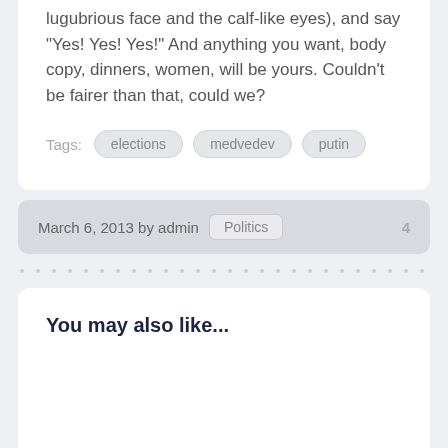lugubrious face and the calf-like eyes), and say "Yes! Yes! Yes!" And anything you want, body copy, dinners, women, will be yours. Couldn't be fairer than that, could we?
Tags: elections medvedev putin
March 6, 2013 by admin Politics 4
You may also like...